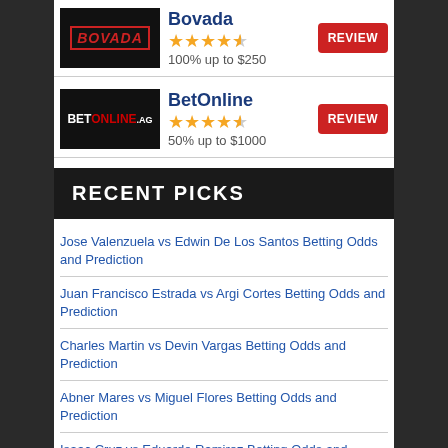[Figure (logo): Bovada logo - white text on black background with red border]
Bovada
[Figure (infographic): 4.5 star rating in gold stars]
100% up to $250
REVIEW
[Figure (logo): BetOnline.ag logo - white and red text on black background]
BetOnline
[Figure (infographic): 4.5 star rating in gold stars]
50% up to $1000
REVIEW
RECENT PICKS
Jose Valenzuela vs Edwin De Los Santos Betting Odds and Prediction
Juan Francisco Estrada vs Argi Cortes Betting Odds and Prediction
Charles Martin vs Devin Vargas Betting Odds and Prediction
Abner Mares vs Miguel Flores Betting Odds and Prediction
Isaac Cruz vs Eduardo Ramirez Betting Odds and Prediction